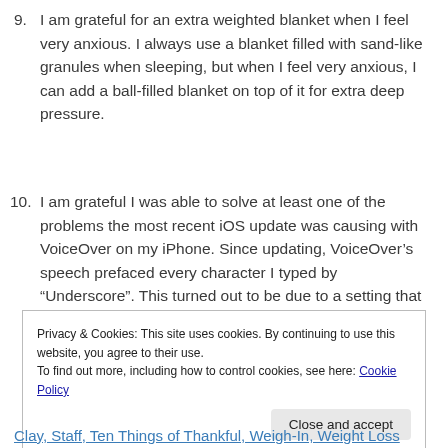9. I am grateful for an extra weighted blanket when I feel very anxious. I always use a blanket filled with sand-like granules when sleeping, but when I feel very anxious, I can add a ball-filled blanket on top of it for extra deep pressure.
10. I am grateful I was able to solve at least one of the problems the most recent iOS update was causing with VoiceOver on my iPhone. Since updating, VoiceOver's speech prefaced every character I typed by "Underscore". This turned out to be due to a setting that had been switched by the update or something. Unfortunately, some problems, like Braille display sluggishness, persist.
Privacy & Cookies: This site uses cookies. By continuing to use this website, you agree to their use.
To find out more, including how to control cookies, see here: Cookie Policy
Close and accept
Clay, Staff, Ten Things of Thankful, Weigh-In, Weight Loss